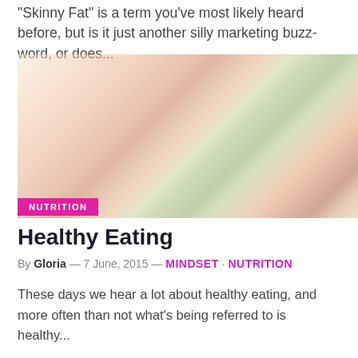"Skinny Fat" is a term you've most likely heard before, but is it just another silly marketing buzz-word, or does...
[Figure (photo): A faded/washed-out photo of mixed colorful vegetables including leafy greens, carrots, and tomatoes.]
NUTRITION
Healthy Eating
By Gloria — 7 June, 2015 — MINDSET · NUTRITION
These days we hear a lot about healthy eating, and more often than not what's being referred to is healthy...